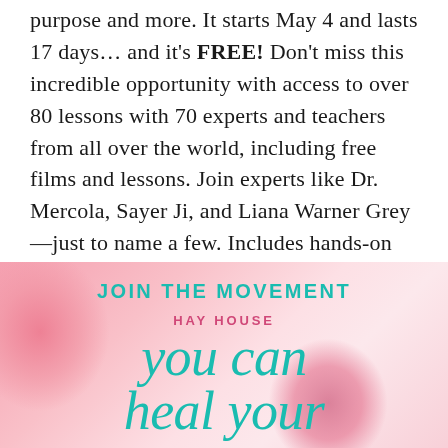purpose and more. It starts May 4 and lasts 17 days... and it's FREE! Don't miss this incredible opportunity with access to over 80 lessons with 70 experts and teachers from all over the world, including free films and lessons. Join experts like Dr. Mercola, Sayer Ji, and Liana Warner Grey—just to name a few. Includes hands-on procedures, worksheets, and other tools for your wellness journey.
[Figure (illustration): Pink gradient banner advertisement for Hay House 'You Can Heal Your Life' event. Contains text 'JOIN THE MOVEMENT' in teal, 'HAY HOUSE' in pink uppercase, and large italic teal text 'you can heal your life' with pink floral/bokeh background elements.]